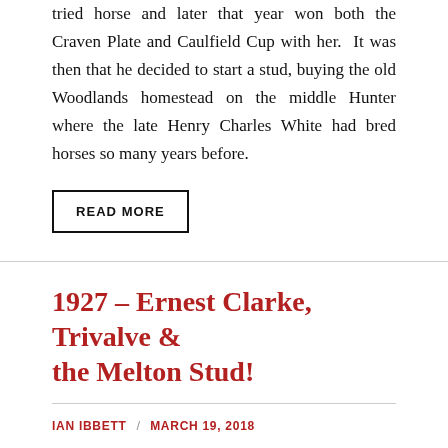tried horse and later that year won both the Craven Plate and Caulfield Cup with her.  It was then that he decided to start a stud, buying the old Woodlands homestead on the middle Hunter where the late Henry Charles White had bred horses so many years before.
READ MORE
1927 – Ernest Clarke, Trivalve & the Melton Stud!
IAN IBBETT / MARCH 19, 2018
Our chapter on the 1917 renewal of the A.J.C. classic